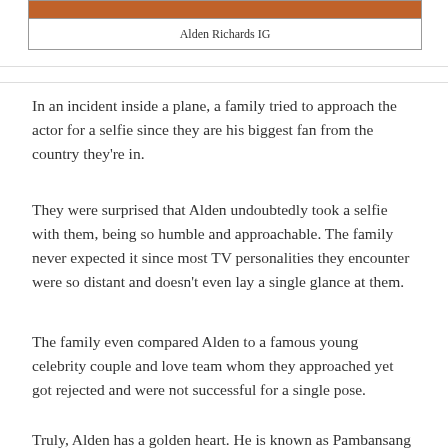[Figure (photo): Partial view of a photo showing warm orange/brown tones, likely food or a person]
Alden Richards IG
In an incident inside a plane, a family tried to approach the actor for a selfie since they are his biggest fan from the country they're in.
They were surprised that Alden undoubtedly took a selfie with them, being so humble and approachable. The family never expected it since most TV personalities they encounter were so distant and doesn't even lay a single glance at them.
The family even compared Alden to a famous young celebrity couple and love team whom they approached yet got rejected and were not successful for a single pose.
Truly, Alden has a golden heart. He is known as Pambansang